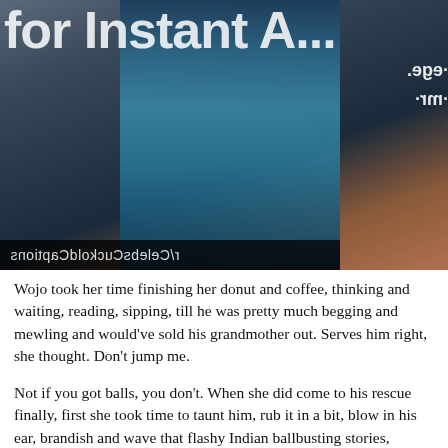[Figure (photo): Photo of a person with blue/teal hair wearing a black top, mirrored watermark text visible at bottom reading r/CelebsCuckoldCaptions, with partial title text at top reading 'for Instant A...']
Wojo took her time finishing her donut and coffee, thinking and waiting, reading, sipping, till he was pretty much begging and mewling and would've sold his grandmother out. Serves him right, she thought. Don't jump me.
Not if you got balls, you don't. When she did come to his rescue finally, first she took time to taunt him, rub it in a bit, blow in his ear, brandish and wave that flashy Indian ballbusting stories, precious little, vital little key on the outskirts of his hallucinating